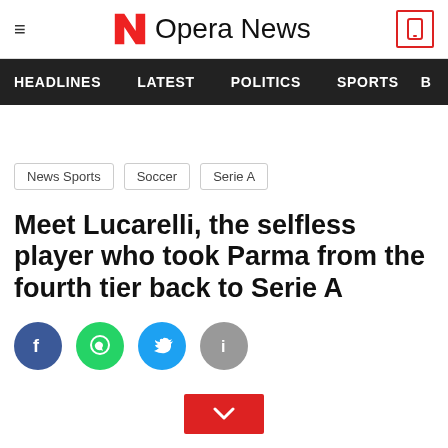Opera News
HEADLINES | LATEST | POLITICS | SPORTS
News Sports  Soccer  Serie A
Meet Lucarelli, the selfless player who took Parma from the fourth tier back to Serie A